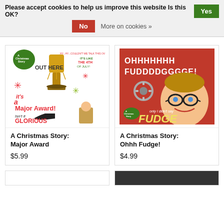Please accept cookies to help us improve this website Is this OK? Yes | No | More on cookies »
[Figure (illustration): Product image: A Christmas Story Major Award poster/card showing leg lamp, 'it's a Major Award! Isn't it Glorious' text on white background with red and green decorative elements]
A Christmas Story: Major Award
$5.99
[Figure (illustration): Product image: A Christmas Story Ohhh Fudge! card showing boy with glasses on red background with text 'OHHHHH FUDDDDGGGGE!' and 'only I didn't say Fudge']
A Christmas Story: Ohhh Fudge!
$4.99